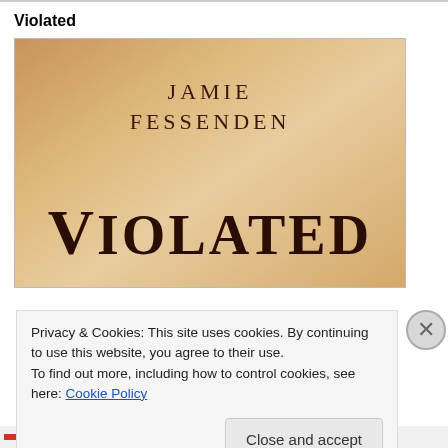Violated
[Figure (illustration): Book cover for 'Violated' by Jamie Fessenden. Sandy/beige gradient background. Author name 'JAMIE FESSENDEN' in serif uppercase letters at top center. Book title 'VIOLATED' in very large dark serif bold letters at the bottom.]
Privacy & Cookies: This site uses cookies. By continuing to use this website, you agree to their use.
To find out more, including how to control cookies, see here: Cookie Policy
Close and accept